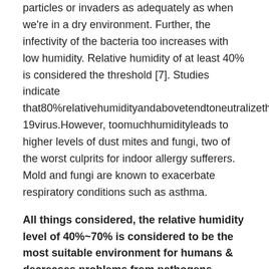particles or invaders as adequately as when we're in a dry environment. Further, the infectivity of the bacteria too increases with low humidity. Relative humidity of at least 40% is considered the threshold [7]. Studies indicate that80%relativehumidityandabovetendtoneutralizetheCOVID-19virus.However, toomuchhumidityleads to higher levels of dust mites and fungi, two of the worst culprits for indoor allergy sufferers. Mold and fungi are known to exacerbate respiratory conditions such as asthma.
All things considered, the relative humidity level of 40%~70% is considered to be the most suitable environment for humans & decreases problems from pathogens.
2. TEMPERATURE
Temperature tends to be a factor that directly affects the